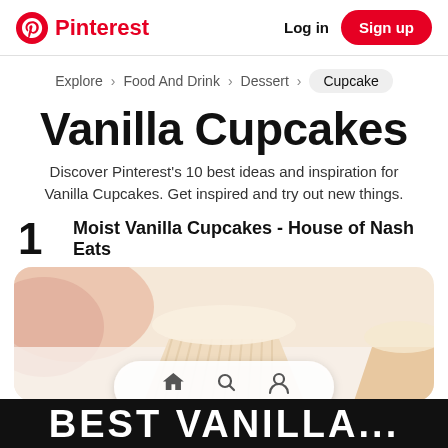Pinterest — Log in | Sign up
Explore > Food And Drink > Dessert > Cupcake
Vanilla Cupcakes
Discover Pinterest's 10 best ideas and inspiration for Vanilla Cupcakes. Get inspired and try out new things.
1 Moist Vanilla Cupcakes - House of Nash Eats
[Figure (photo): Close-up photo of vanilla cupcakes in paper liners on a white surface, with a pink cloth in background]
BEST VANILLA...